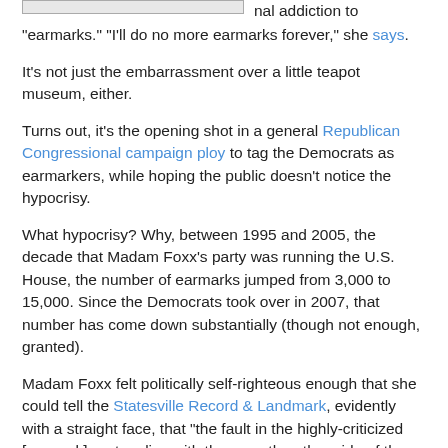[Figure (screenshot): Top portion of an image or screenshot, partially visible at top of page]
nal addiction to "earmarks." "I'll do no more earmarks forever," she says.
It's not just the embarrassment over a little teapot museum, either.
Turns out, it's the opening shot in a general Republican Congressional campaign ploy to tag the Democrats as earmarkers, while hoping the public doesn't notice the hypocrisy.
What hypocrisy? Why, between 1995 and 2005, the decade that Madam Foxx's party was running the U.S. House, the number of earmarks jumped from 3,000 to 15,000. Since the Democrats took over in 2007, that number has come down substantially (though not enough, granted).
Madam Foxx felt politically self-righteous enough that she could tell the Statesville Record & Landmark, evidently with a straight face, that "the fault in the highly-criticized [earmark] system lies with those on the other side of the aisle."